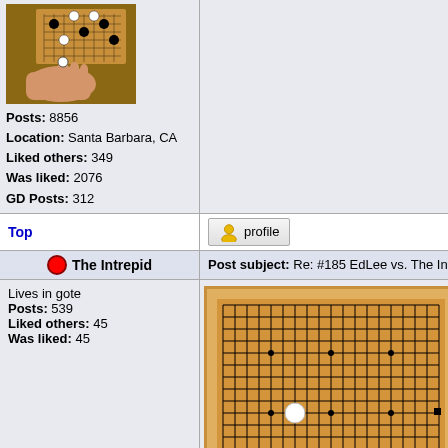[Figure (photo): Photo of a Go game being played, showing a hand placing a stone on a wooden Go board with black and white stones]
Posts: 8856
Location: Santa Barbara, CA
Liked others: 349
Was liked: 2076
GD Posts: 312
Top
[Figure (other): Profile button with person icon]
The Intrepid
Post subject: Re: #185 EdLee vs. The Intrepid: The Swo
Lives in gote
Posts: 539
Liked others: 45
Was liked: 45
[Figure (other): Go board diagram showing a partial game with a white stone near the center-left area and a black stone marker on the right side star point. The board shows approximately 19x19 grid lines typical of a Go board.]